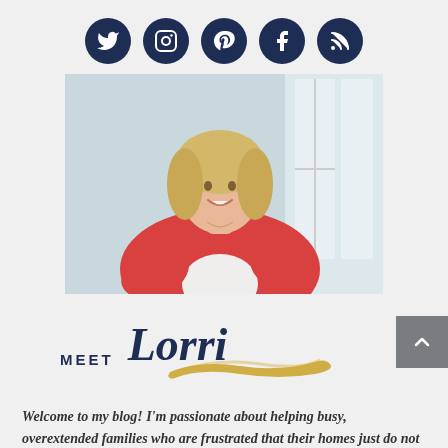[Figure (infographic): Row of five dark navy circular social media icons: Twitter bird, Instagram camera, Pinterest P, Facebook f, RSS feed symbol]
[Figure (photo): Smiling blonde woman in a red cardigan seated near a window, professional portrait photo]
MEET Lorri
[Figure (illustration): Gold brushstroke decoration beneath the Lorri script text]
Welcome to my blog! I'm passionate about helping busy, overextended families who are frustrated that their homes just do not feel